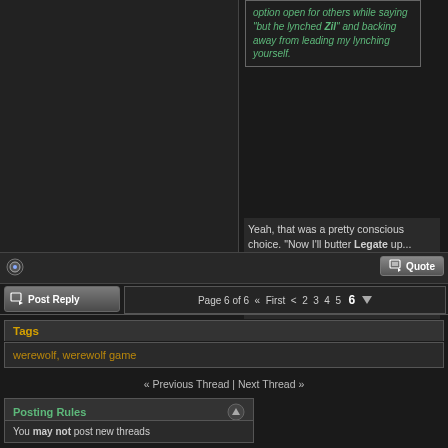option open for others while saying "but he lynched Zil" and backing away from leading my lynching yourself.
Yeah, that was a pretty conscious choice. "Now I'll butter Legate up... Now I have to lay the groundwork to vote for him, even though it'll make me look more suspicious.". Like walking a tightrope.
Post Reply
Page 6 of 6  « First  <  2  3  4  5  6
Tags
werewolf, werewolf game
« Previous Thread | Next Thread »
Posting Rules
You may not post new threads